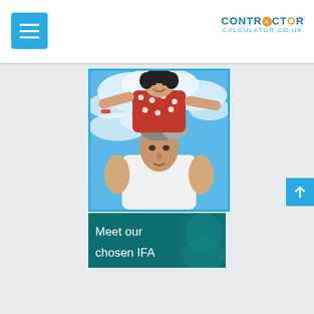CONTRACTOR CALCULATOR.CO.UK
[Figure (photo): A father carrying a young girl on his shoulders outdoors against a blue sky with white clouds. The girl is wearing a red polka-dot dress and looking upward with arms outstretched. The photo is taken from a low angle.]
[Figure (photo): Banner image with teal/dark green background showing partial face, with text 'Meet our chosen IFA' in white.]